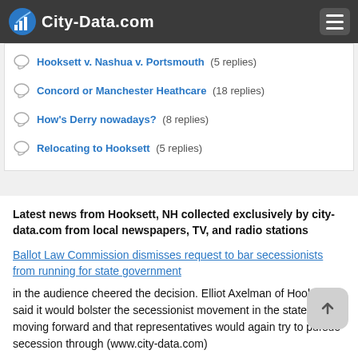City-Data.com
Hooksett v. Nashua v. Portsmouth (5 replies)
Concord or Manchester Heathcare (18 replies)
How's Derry nowadays? (8 replies)
Relocating to Hooksett (5 replies)
Latest news from Hooksett, NH collected exclusively by city-data.com from local newspapers, TV, and radio stations
Ballot Law Commission dismisses request to bar secessionists from running for state government
in the audience cheered the decision. Elliot Axelman of Hooksett said it would bolster the secessionist movement in the state moving forward and that representatives would again try to pursue secession through (www.city-data.com)